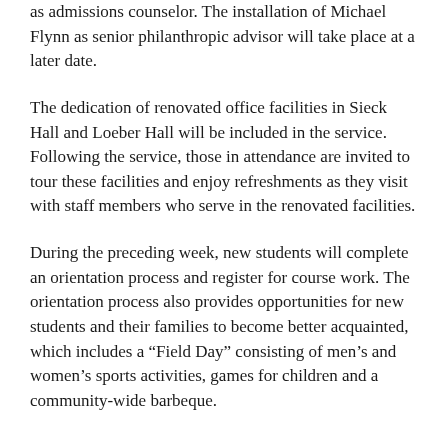as admissions counselor. The installation of Michael Flynn as senior philanthropic advisor will take place at a later date.
The dedication of renovated office facilities in Sieck Hall and Loeber Hall will be included in the service. Following the service, those in attendance are invited to tour these facilities and enjoy refreshments as they visit with staff members who serve in the renovated facilities.
During the preceding week, new students will complete an orientation process and register for course work. The orientation process also provides opportunities for new students and their families to become better acquainted, which includes a “Field Day” consisting of men’s and women’s sports activities, games for children and a community-wide barbeque.